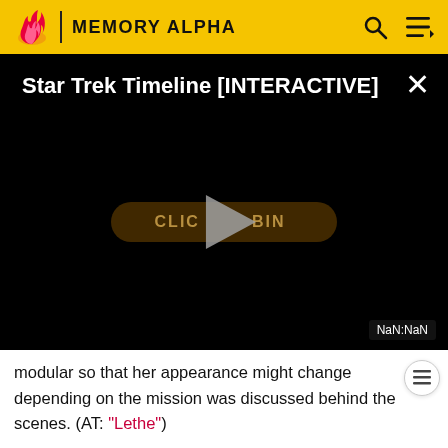MEMORY ALPHA
[Figure (screenshot): Video embed with title 'Star Trek Timeline [INTERACTIVE]', black background, play button overlay and 'CLICK TO BEGIN' button, NaN:NaN timestamp shown in bottom right corner]
modular so that her appearance might change depending on the mission was discussed behind the scenes. (AT: "Lethe")
Critic Darren Franich referred to Airiam as "the greatest background character in Trek history since the glory days